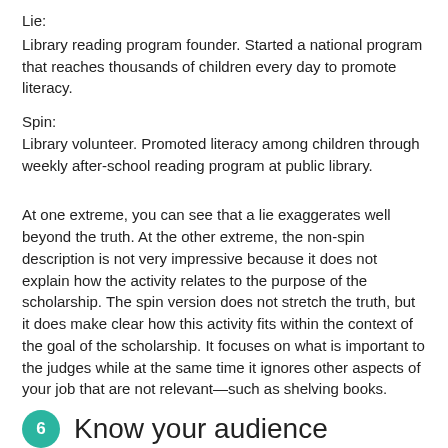Lie:
Library reading program founder. Started a national program that reaches thousands of children every day to promote literacy.
Spin:
Library volunteer. Promoted literacy among children through weekly after-school reading program at public library.
At one extreme, you can see that a lie exaggerates well beyond the truth. At the other extreme, the non-spin description is not very impressive because it does not explain how the activity relates to the purpose of the scholarship. The spin version does not stretch the truth, but it does make clear how this activity fits within the context of the goal of the scholarship. It focuses on what is important to the judges while at the same time it ignores other aspects of your job that are not relevant—such as shelving books.
6  Know your audience